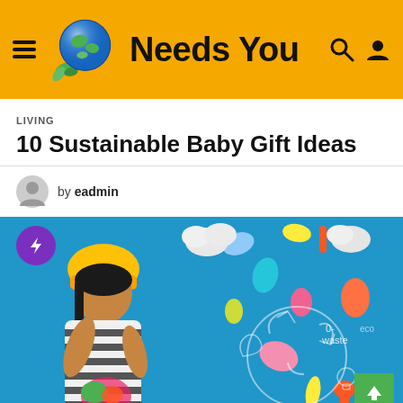Needs You
LIVING
10 Sustainable Baby Gift Ideas
by eadmin
[Figure (photo): Woman in yellow hat blowing glitter with zero-waste eco-themed items on blue background. A purple lightning badge overlays the top-left corner. A green back-to-top arrow button is in the bottom-right corner.]